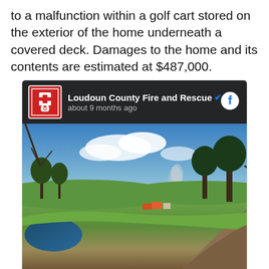to a malfunction within a golf cart stored on the exterior of the home underneath a covered deck. Damages to the home and its contents are estimated at $487,000.
[Figure (screenshot): Facebook post from Loudoun County Fire and Rescue, posted about 9 months ago. Shows an outdoor landscape photo with bare trees, green grass fields, a pond on the left, a dirt path on the right, blue sky with clouds, and smoke visible in the background near structures.]
The Loudoun County Fire Marshal's Office (FMO) attributed the